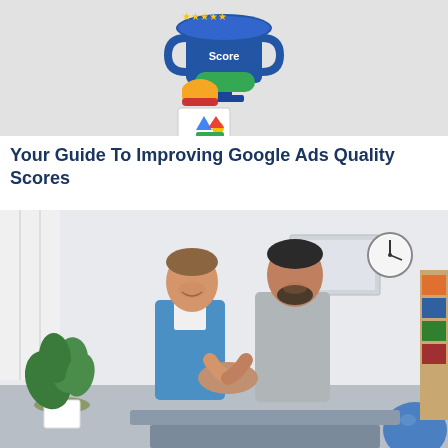[Figure (illustration): Illustration of a hand holding a blue trophy cup with gold stars and 'Score' text, alongside a Google Ads logo card, on a light gray background.]
Your Guide To Improving Google Ads Quality Scores
[Figure (photo): Photo of a doctor in blue scrubs shaking hands with a male patient in a gray t-shirt inside a medical clinic. A green plant is visible on the left and a clock on the wall in the background.]